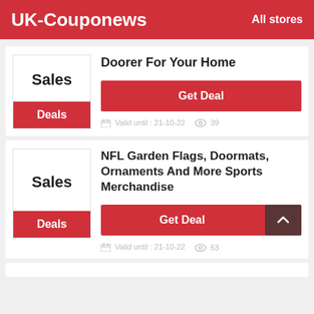UK-Couponews   All stores
Doorer For Your Home
Get Deal
Deals
Valid until : 21-10-22   39
NFL Garden Flags, Doormats, Ornaments And More Sports Merchandise
Get Deal
Deals
Valid until : 21-10-22   63